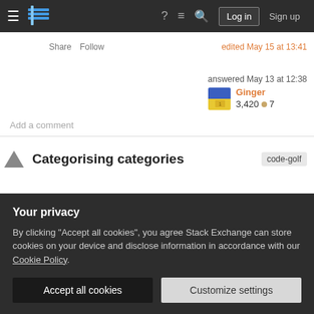Stack Exchange navigation bar with Log in and Sign up buttons
Share   Follow   edited May 15 at 13:41
answered May 13 at 12:38
Ginger
3,420 ● 7
Add a comment
Categorising categories   code-golf
Your privacy
By clicking "Accept all cookies", you agree Stack Exchange can store cookies on your device and disclose information in accordance with our Cookie Policy.
Accept all cookies   Customize settings